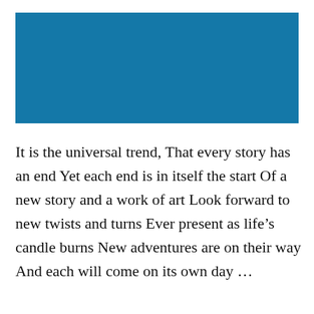[Figure (other): Solid teal/steel-blue rectangle occupying the upper portion of the page]
It is the universal trend, That every story has an end Yet each end is in itself the start Of a new story and a work of art Look forward to new twists and turns Ever present as life’s candle burns New adventures are on their way And each will come on its own day …